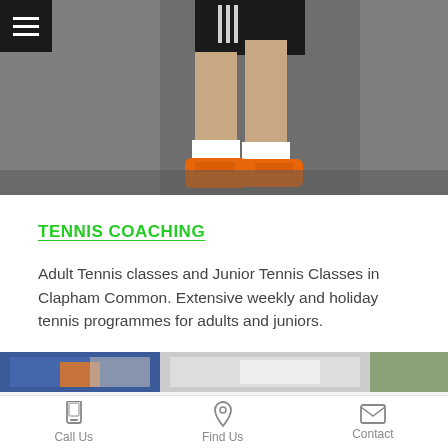[Figure (photo): Tennis player's lower body running on a court, wearing orange shoes and black shorts]
TENNIS COACHING
Adult Tennis classes and Junior Tennis Classes in Clapham Common. Extensive weekly and holiday tennis programmes for adults and juniors.
[Figure (photo): Collage of tennis players including juniors playing on courts, partially in color and black-and-white]
Call Us  Find Us  Contact